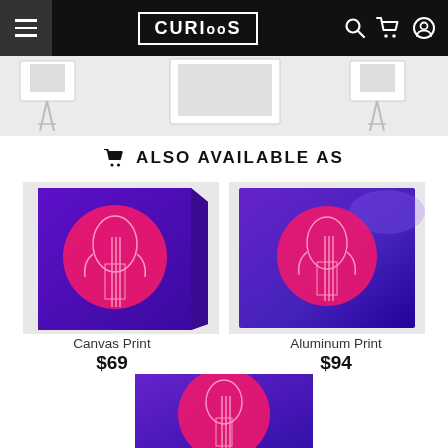CURIOOS navigation bar with hamburger menu, logo, search, cart, and account icons
[Figure (photo): Partial hero banner showing artwork mounted on canvas/print displays against a light background]
ALSO AVAILABLE AS
[Figure (photo): Canvas Print product image — purple/blue background with pink circle and white classical torso figure with vertical bar lines, shown as a canvas print with angled side view]
Canvas Print
$69
[Figure (photo): Aluminum Print product image — same artwork with purple-to-blue gradient, pink circle and white classical torso figure with bar lines, shown as a flat aluminum print]
Aluminum Print
$94
[Figure (photo): Third print type (partially visible at bottom) — same artwork with purple-to-blue background and pink circle with classical torso figure]